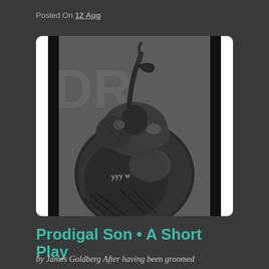Posted On 12 Aug
[Figure (illustration): Black and white ink drawing of a round fruit (mangosteen or similar) with a twisted stem, rendered in detailed cross-hatching style against a grey textured background with white vertical bars on the sides]
Prodigal Son • A Short Play
by James Goldberg After having been groomed